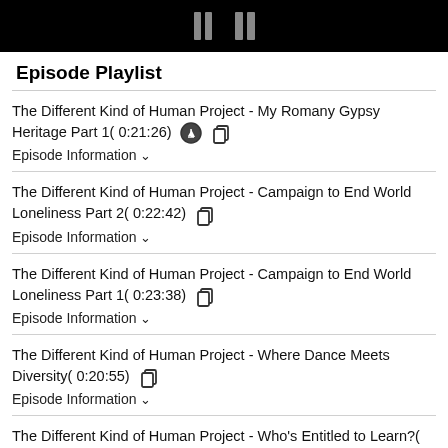Episode Playlist
The Different Kind of Human Project - My Romany Gypsy Heritage Part 1( 0:21:26) Episode Information
The Different Kind of Human Project - Campaign to End World Loneliness Part 2( 0:22:42) Episode Information
The Different Kind of Human Project - Campaign to End World Loneliness Part 1( 0:23:38) Episode Information
The Different Kind of Human Project - Where Dance Meets Diversity( 0:20:55) Episode Information
The Different Kind of Human Project - Who's Entitled to Learn?( 0:22:48) Episode Information